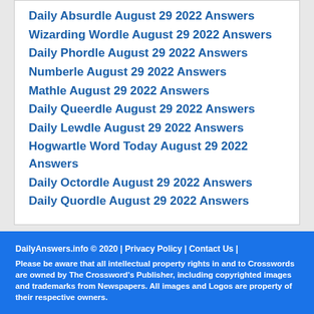Daily Absurdle August 29 2022 Answers
Wizarding Wordle August 29 2022 Answers
Daily Phordle August 29 2022 Answers
Numberle August 29 2022 Answers
Mathle August 29 2022 Answers
Daily Queerdle August 29 2022 Answers
Daily Lewdle August 29 2022 Answers
Hogwartle Word Today August 29 2022 Answers
Daily Octordle August 29 2022 Answers
Daily Quordle August 29 2022 Answers
DailyAnswers.info © 2020  |  Privacy Policy  |  Contact Us  |  Please be aware that all intellectual property rights in and to Crosswords are owned by The Crossword's Publisher, including copyrighted images and trademarks from Newspapers. All images and Logos are property of their respective owners.